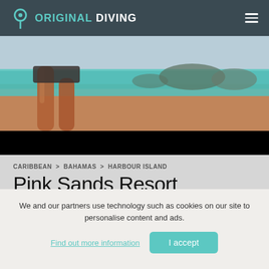ORIGINAL DIVING
[Figure (photo): Beach scene with a person's legs visible, turquoise water and rocky outcrops in the background]
CARIBBEAN > BAHAMAS > HARBOUR ISLAND
Pink Sands Resort
We and our partners use technology such as cookies on our site to personalise content and ads.
Find out more information
I accept